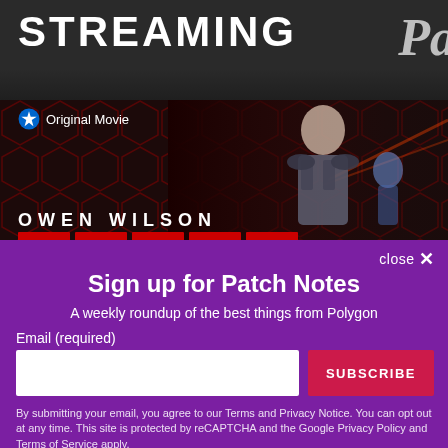[Figure (screenshot): Paramount+ streaming advertisement banner showing 'STREAMING' text in large white bold letters on dark background, with 'Original Movie' badge and actor Owen Wilson in a sci-fi suit, with red hexagon background pattern, and red title blocks at bottom]
close ✕
Sign up for Patch Notes
A weekly roundup of the best things from Polygon
Email (required)
SUBSCRIBE
By submitting your email, you agree to our Terms and Privacy Notice. You can opt out at any time. This site is protected by reCAPTCHA and the Google Privacy Policy and Terms of Service apply.